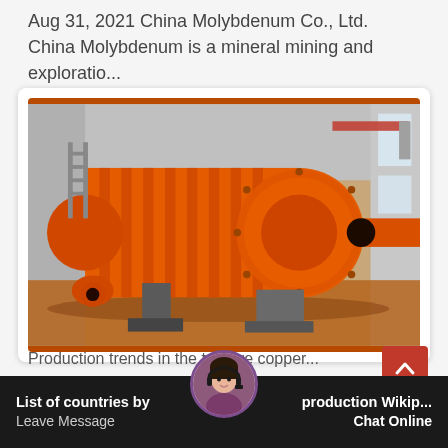Aug 31, 2021 China Molybdenum Co., Ltd. China Molybdenum is a mineral mining and exploratio...
[Figure (photo): Large orange industrial ball mill machine laying horizontally in an industrial warehouse/factory. The machine is bright orange, cylindrical with flanged sections. A red overhead crane is visible in the background.]
List of countries by production Wikip...
Leave Message
Chat Online
Production trends in the top five copper...